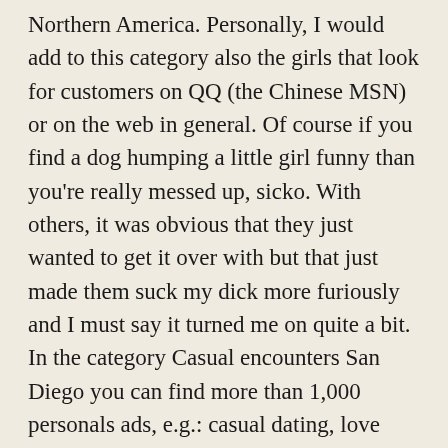Northern America. Personally, I would add to this category also the girls that look for customers on QQ (the Chinese MSN) or on the web in general. Of course if you find a dog humping a little girl funny than you're really messed up, sicko. With others, it was obvious that they just wanted to get it over with but that just made them suck my dick more furiously and I must say it turned me on quite a bit. In the category Casual encounters San Diego you can find more than 1,000 personals ads, e.g.: casual dating, love adventures or friends with benefits. Find what you are looking for or create your own ad for free. May 29, 2019 · Updated May 30th, 2019: When it comes to Latinas, Mexican girls are often neglected.Ask any man where the sexiest Latin women come from, and he will undoubtedly say “Colombia” or “Brazil.” This is a guest post from my My Latin Life. Sep 04, 2005 · I admit, I fucked some of the cheap putas that line up in the street in Tijuana, and I liked it. Over the last two decades the number of call